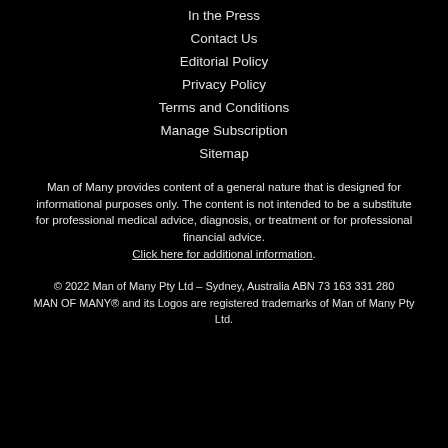In the Press
Contact Us
Editorial Policy
Privacy Policy
Terms and Conditions
Manage Subscription
Sitemap
Man of Many provides content of a general nature that is designed for informational purposes only. The content is not intended to be a substitute for professional medical advice, diagnosis, or treatment or for professional financial advice. Click here for additional information.
© 2022 Man of Many Pty Ltd – Sydney, Australia ABN 73 163 331 280
MAN OF MANY® and its Logos are registered trademarks of Man of Many Pty Ltd.